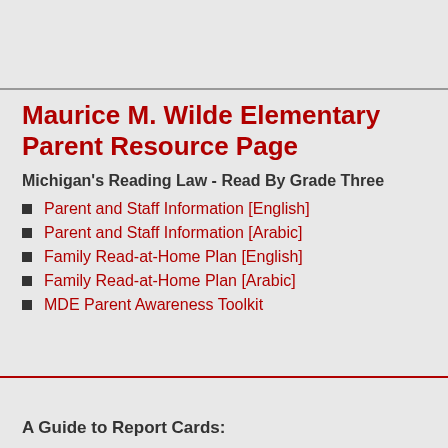Maurice M. Wilde Elementary Parent Resource Page
Michigan's Reading Law - Read By Grade Three
Parent and Staff Information [English]
Parent and Staff Information [Arabic]
Family Read-at-Home Plan [English]
Family Read-at-Home Plan [Arabic]
MDE Parent Awareness Toolkit
A Guide to Report Cards: